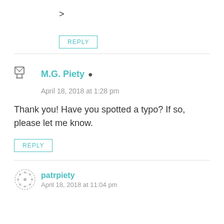>
REPLY
M.G. Piety
April 18, 2018 at 1:28 pm
Thank you! Have you spotted a typo? If so, please let me know.
REPLY
patrpiety
April 18, 2018 at 11:04 pm